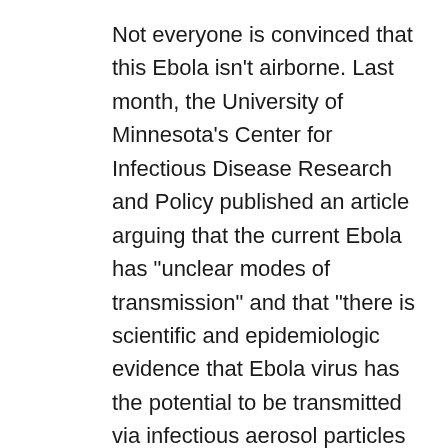Not everyone is convinced that this Ebola isn't airborne. Last month, the University of Minnesota's Center for Infectious Disease Research and Policy published an article arguing that the current Ebola has “unclear modes of transmission” and that “there is scientific and epidemiologic evidence that Ebola virus has the potential to be transmitted via infectious aerosol particles both near and at a distance from infected patients, which means that healthcare workers should be wearing respirators, not facemasks.”
And even if this Ebola isn’t airborne right now, it might become so in the future. Viruses mutate and evolve in the wild, and the population of infected Ebola carriers is now bigger than it has been at any point in history—meaning that the pool for potential mutations is larger